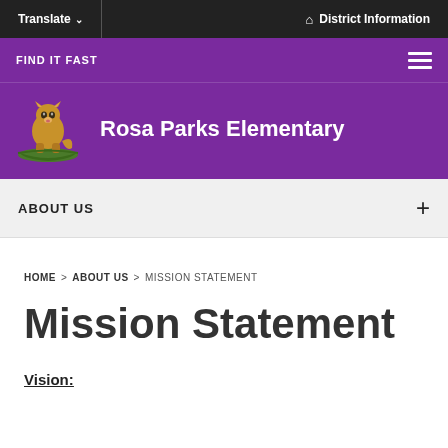Translate  District Information
FIND IT FAST
Rosa Parks Elementary
ABOUT US
HOME > ABOUT US > MISSION STATEMENT
Mission Statement
Vision: